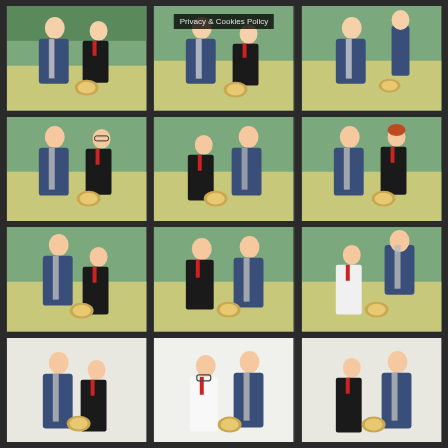[Figure (photo): Adult male in suit with striped tie and student in school uniform holding an award plaque, green/yellow background]
[Figure (photo): Adult male presenting to student holding award, green/yellow background, with Privacy & Cookies Policy overlay text]
[Figure (photo): Adult male in suit with student holding award plaque, green/yellow background]
[Figure (photo): Adult male and female student with glasses in school uniform, holding award plaque, green/yellow background]
[Figure (photo): Adult male presenting award to female student in school uniform, green/yellow background]
[Figure (photo): Adult male and red-haired female student holding award plaque, green/yellow background]
[Figure (photo): Adult male and female student in school uniform holding award plaque, green/yellow background]
[Figure (photo): Male student and adult male holding award plaque, green/yellow background]
[Figure (photo): Female student and adult male holding award plaque, green/yellow background]
[Figure (photo): Female student and adult male holding award plaque, white/neutral background]
[Figure (photo): Male student with glasses and adult male holding award, white background]
[Figure (photo): Female student and adult male holding award plaque, white/neutral background]